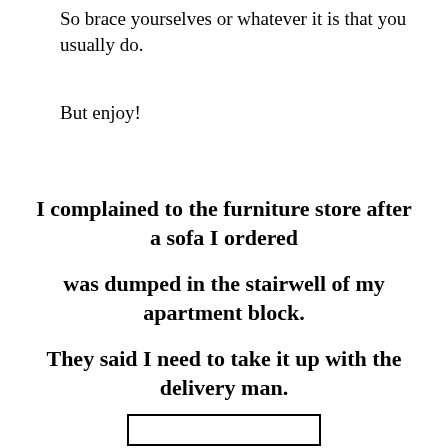So brace yourselves or whatever it is that you usually do.
But enjoy!
I complained to the furniture store after a sofa I ordered

was dumped in the stairwell of my apartment block.

They said I need to take it up with the delivery man.